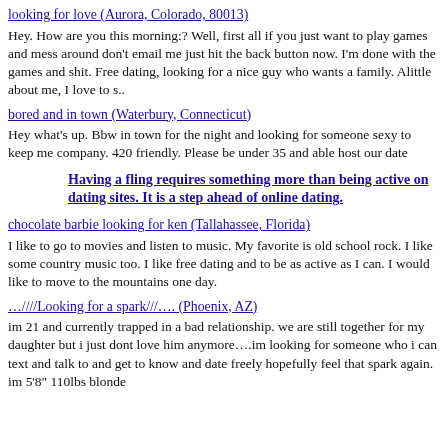looking for love (Aurora, Colorado, 80013)
Hey. How are you this morning:? Well, first all if you just want to play games and mess around don't email me just hit the back button now. I'm done with the games and shit. Free dating, looking for a nice guy who wants a family. Alittle about me, I love to s..
bored and in town (Waterbury, Connecticut)
Hey what's up. Bbw in town for the night and looking for someone sexy to keep me company. 420 friendly. Please be under 35 and able host our date
Having a fling requires something more than being active on dating sites. It is a step ahead of online dating.
chocolate barbie looking for ken (Tallahassee, Florida)
I like to go to movies and listen to music. My favorite is old school rock. I like some country music too. I like free dating and to be as active as I can. I would like to move to the mountains one day.
…////Looking for a spark///…. (Phoenix, AZ)
im 21 and currently trapped in a bad relationship. we are still together for my daughter but i just dont love him anymore….im looking for someone who i can text and talk to and get to know and date freely hopefully feel that spark again. im 5'8" 110lbs blonde